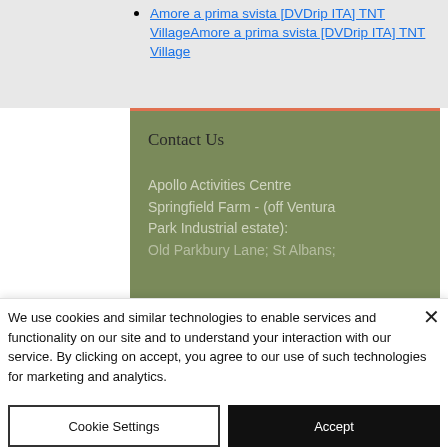Amore a prima svista [DVDrip ITA] TNT VillageAmore a prima svista [DVDrip ITA] TNT Village
Contact Us
Apollo Activities Centre
Springfield Farm - (off Ventura Park Industrial estate):
Old Parkbury Lane; St Albans;
We use cookies and similar technologies to enable services and functionality on our site and to understand your interaction with our service. By clicking on accept, you agree to our use of such technologies for marketing and analytics.
Cookie Settings
Accept